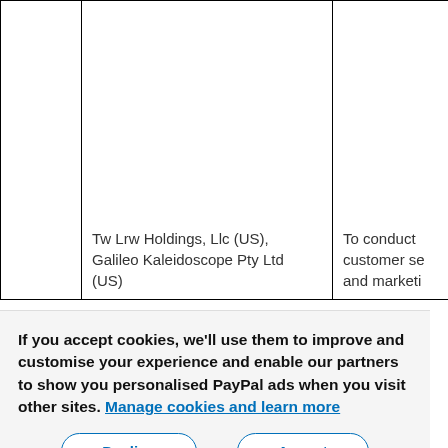|  |  |  |
| --- | --- | --- |
|  | Tw Lrw Holdings, Llc (US), Galileo Kaleidoscope Pty Ltd (US) | To conduct customer se and marketi |
If you accept cookies, we'll use them to improve and customise your experience and enable our partners to show you personalised PayPal ads when you visit other sites. Manage cookies and learn more